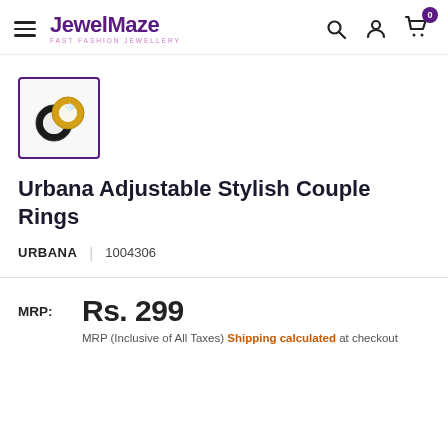JewelMaze — FAST FASHION JEWELLERY
[Figure (photo): Product thumbnail showing couple rings — gold and black adjustable rings with diamond-style accent, inside a purple-bordered square frame]
Urbana Adjustable Stylish Couple Rings
URBANA | 1004306
MRP: Rs. 299 MRP (Inclusive of All Taxes) Shipping calculated at checkout